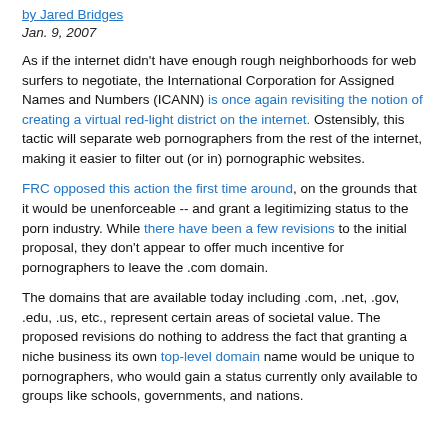by Jared Bridges
Jan. 9, 2007
As if the internet didn't have enough rough neighborhoods for web surfers to negotiate, the International Corporation for Assigned Names and Numbers (ICANN) is once again revisiting the notion of creating a virtual red-light district on the internet. Ostensibly, this tactic will separate web pornographers from the rest of the internet, making it easier to filter out (or in) pornographic websites.
FRC opposed this action the first time around, on the grounds that it would be unenforceable -- and grant a legitimizing status to the porn industry. While there have been a few revisions to the initial proposal, they don't appear to offer much incentive for pornographers to leave the .com domain.
The domains that are available today including .com, .net, .gov, .edu, .us, etc., represent certain areas of societal value. The proposed revisions do nothing to address the fact that granting a niche business its own top-level domain name would be unique to pornographers, who would gain a status currently only available to groups like schools, governments, and nations.